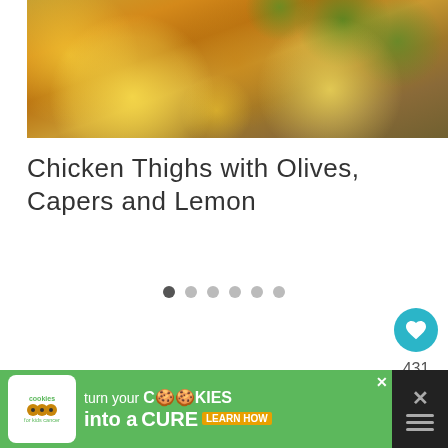[Figure (photo): Close-up photo of chicken thighs with olives, lemons and fresh herbs (thyme)]
Chicken Thighs with Olives, Capers and Lemon
[Figure (infographic): Carousel dots navigation with 6 dots, first dot active (dark), rest light gray]
[Figure (infographic): Heart button (teal circle with white heart icon) with count 431, and share button below]
[Figure (infographic): Advertisement banner: cookies for kids cancer - turn your cookies into a cure learn how]